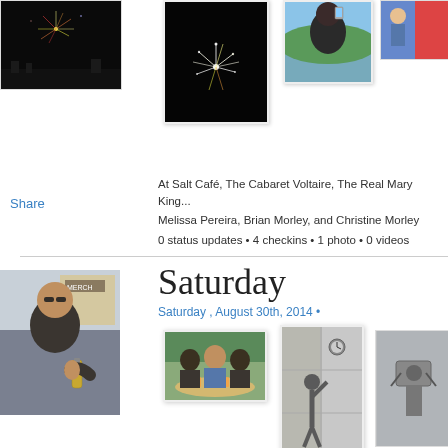[Figure (photo): Fireworks at night – dark sky with colorful sparks, top-left photo]
[Figure (photo): Fireworks at night – dark background with bright burst, center top photo]
[Figure (photo): Woman taking a selfie outdoors, top right photo]
[Figure (photo): Man and colorful character/cartoon, top far-right photo]
Share
At Salt Café, The Cabaret Voltaire, The Real Mary King... Melissa Pereira, Brian Morley, and Christine Morley
0 status updates • 4 checkins • 1 photo • 0 videos
Saturday
Saturday , August 30th, 2014 •
[Figure (photo): Man with sunglasses holding bottle on a street, left photo Saturday section]
[Figure (photo): Three people sitting at outdoor cafe table, Saturday photo center]
[Figure (photo): Person raising arm in front of large mural on wall, Saturday photo right]
[Figure (photo): Close-up of some object on building wall, Saturday far right photo]